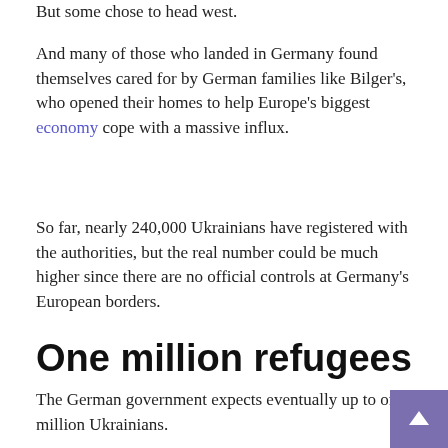But some chose to head west.
And many of those who landed in Germany found themselves cared for by German families like Bilger's, who opened their homes to help Europe's biggest economy cope with a massive influx.
So far, nearly 240,000 Ukrainians have registered with the authorities, but the real number could be much higher since there are no official controls at Germany's European borders.
One million refugees
The German government expects eventually up to one million Ukrainians.
According to the authorities, about two out of three refugees who have arrived so far are staying with private individuals.
Kronberg, a town of around 18,000 in the suburban belt of Frankfurt, has taken on more than 100 members of the...